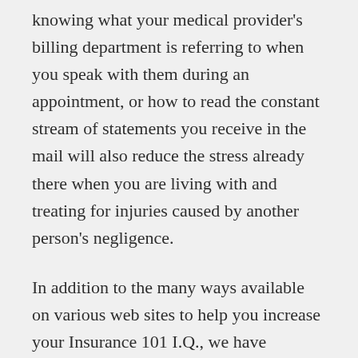knowing what your medical provider's billing department is referring to when you speak with them during an appointment, or how to read the constant stream of statements you receive in the mail will also reduce the stress already there when you are living with and treating for injuries caused by another person's negligence.
In addition to the many ways available on various web sites to help you increase your Insurance 101 I.Q., we have additional resources on our web site.